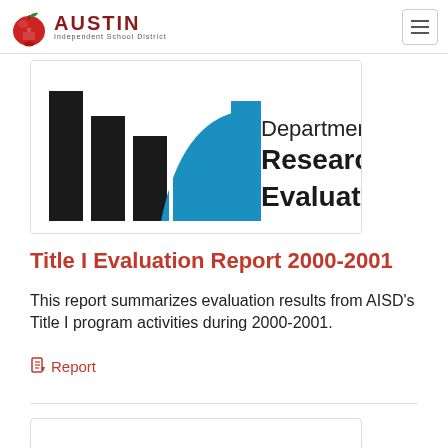Austin Independent School District
[Figure (logo): Austin ISD logo with apple icon and text 'AUSTIN Independent School District']
[Figure (illustration): Department of Research and Evaluation banner with bar chart logo graphic in black and blue]
Title I Evaluation Report 2000-2001
This report summarizes evaluation results from AISD's Title I program activities during 2000-2001.
Report